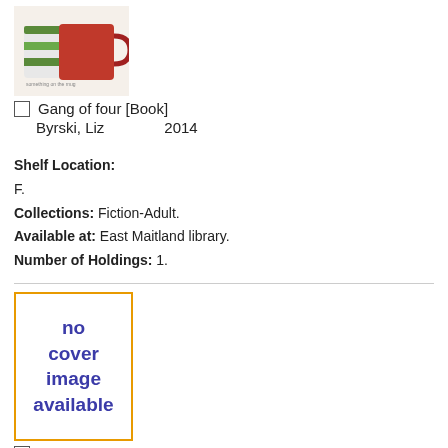[Figure (photo): Book cover image showing two decorative mugs (striped green/red and solid red) on a white background]
Gang of four [Book]
Byrski, Liz    2014
Shelf Location:
F.
Collections: Fiction-Adult.
Available at: East Maitland library.
Number of Holdings: 1.
[Figure (illustration): No cover image available placeholder with orange border and blue italic text]
Gang of Four [Electronic Resource]